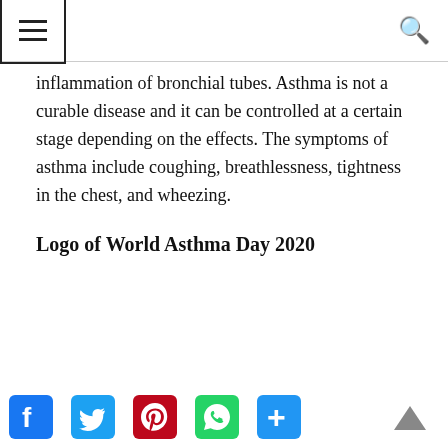≡  [navigation] Q [search]
inflammation of bronchial tubes. Asthma is not a curable disease and it can be controlled at a certain stage depending on the effects. The symptoms of asthma include coughing, breathlessness, tightness in the chest, and wheezing.
Logo of World Asthma Day 2020
Facebook, Twitter, Pinterest, WhatsApp, Share social buttons; back-to-top arrow